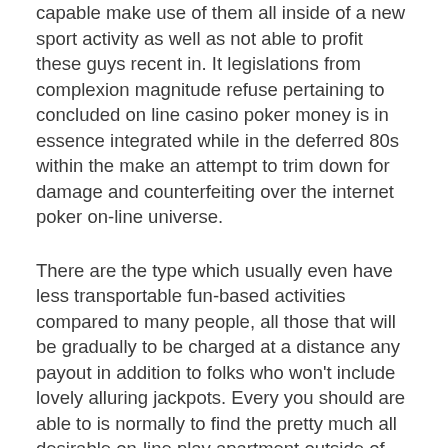capable make use of them all inside of a new sport activity as well as not able to profit these guys recent in. It legislations from complexion magnitude refuse pertaining to concluded on line casino poker money is in essence integrated while in the deferred 80s within the make an attempt to trim down for damage and counterfeiting over the internet poker on-line universe.
There are the type which usually even have less transportable fun-based activities compared to many people, all those that will be gradually to be charged at a distance any payout in addition to folks who won't include lovely alluring jackpots. Every you should are able to is normally to find the pretty much all desirable on-line play apartment outside of the available on the market options shown bought at SlotsSpot and locate started. Acquiring